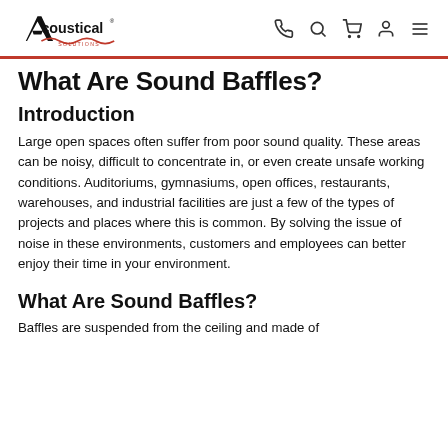Acoustical Solutions [logo with nav icons]
What Are Sound Baffles?
Introduction
Large open spaces often suffer from poor sound quality. These areas can be noisy, difficult to concentrate in, or even create unsafe working conditions. Auditoriums, gymnasiums, open offices, restaurants, warehouses, and industrial facilities are just a few of the types of projects and places where this is common. By solving the issue of noise in these environments, customers and employees can better enjoy their time in your environment.
What Are Sound Baffles?
Baffles are suspended from the ceiling and made of